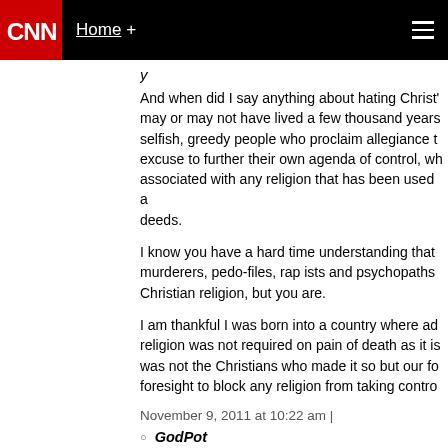CNN | Home +
And when did I say anything about hating Christ's may or may not have lived a few thousand years selfish, greedy people who proclaim allegiance t excuse to further their own agenda of control, wh associated with any religion that has been used a deeds.
I know you have a hard time understanding that murderers, pedo-files, rap ists and psychopaths Christian religion, but you are.
I am thankful I was born into a country where ad religion was not required on pain of death as it is was not the Christians who made it so but our fo foresight to block any religion from taking contro
November 9, 2011 at 10:22 am |
GodPot